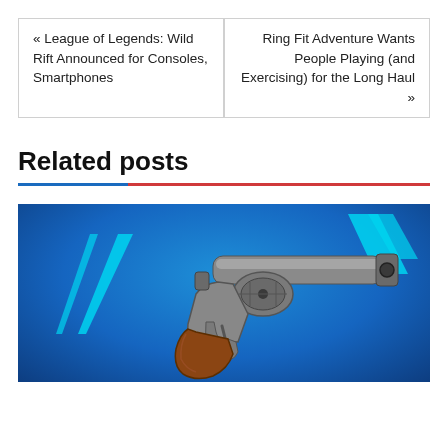« League of Legends: Wild Rift Announced for Consoles, Smartphones
Ring Fit Adventure Wants People Playing (and Exercising) for the Long Haul »
Related posts
[Figure (photo): Fortnite-style revolver handgun on a blue gradient background with cyan decorative slash lines]